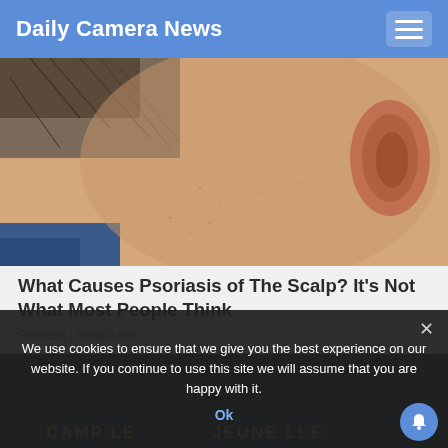Daily Camera News
[Figure (photo): Close-up photo of the back of a person's neck and ear, showing skin with some stubble and hair]
What Causes Psoriasis of The Scalp? It's Not What Most People Think
Psoriasis | Search Ads
[Figure (photo): Dark teal/gray textured background with camera equipment and text reading CAMP LEJEUNE LLEGAL]
We use cookies to ensure that we give you the best experience on our website. If you continue to use this site we will assume that you are happy with it.
Ok